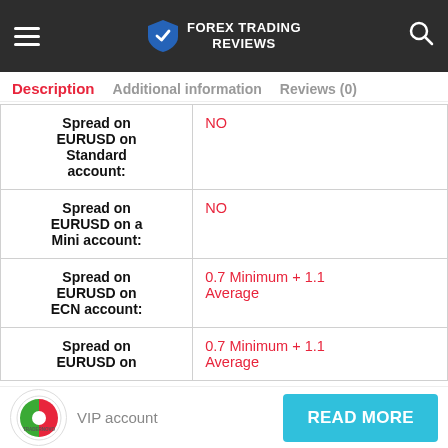Forex Trading Reviews
Description | Additional information | Reviews (0)
|  |  |
| --- | --- |
| Spread on EURUSD on Standard account: | NO |
| Spread on EURUSD on a Mini account: | NO |
| Spread on EURUSD on ECN account: | 0.7 Minimum + 1.1 Average |
| Spread on EURUSD on VIP account: | 0.7 Minimum + 1.1 Average |
VIP account